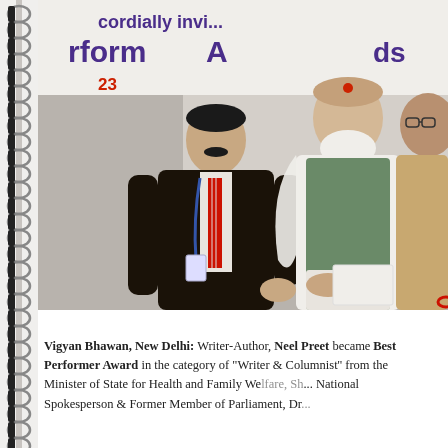[Figure (photo): A photograph taken at Vigyan Bhawan, New Delhi showing three men. A man in a black suit with a red striped tie and a blue lanyard ID badge stands prominently on the left. In the center is an older man with a white beard wearing a white kurta with a green/teal vest and a white shawl, receiving something. To the right partially visible is another man wearing glasses and a tan/brown kurta. A banner in the background shows text including 'cordially invi...', 'rform...A...', and '23...' in purple and red. The image is mounted on a spiral-bound notebook.]
Vigyan Bhawan, New Delhi: Writer-Author, Neel Preet became Best Performer Award in the category of "Writer & Columnist" from the Minister of State for Health and Family Welfare, Sh... National Spokesperson & Former Member of Parliament, Dr...